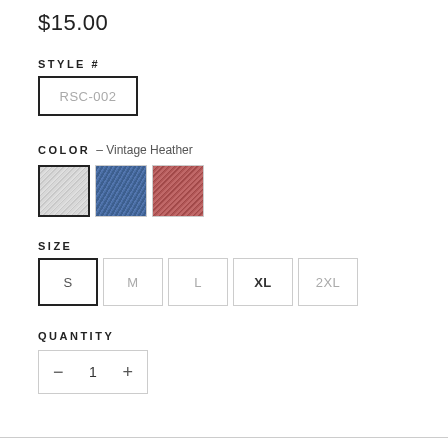$15.00
STYLE #
RSC-002
COLOR – Vintage Heather
[Figure (other): Three fabric color swatches: Vintage Heather (gray, selected), blue, and red/rust]
SIZE
S  M  L  XL  2XL
QUANTITY
– 1 +